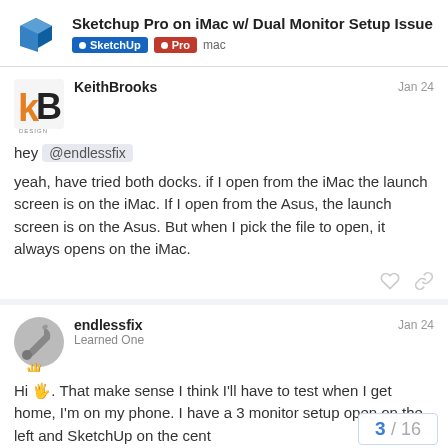Sketchup Pro on iMac w/ Dual Monitor Setup Issue | SketchUp Pro mac
KeithBrooks Jan 24
hey @endlessfix
yeah, have tried both docks. if I open from the iMac the launch screen is on the iMac. If I open from the Asus, the launch screen is on the Asus. But when I pick the file to open, it always opens on the iMac.
endlessfix Jan 24
Learned One
Hi 🖐. That make sense I think I'll have to test when I get home, I'm on my phone. I have a 3 monitor setup open on the left and SketchUp on the cent